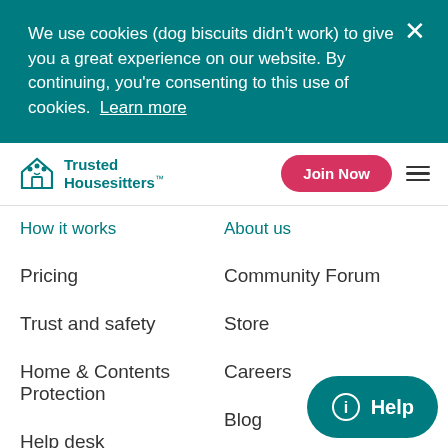We use cookies (dog biscuits didn't work) to give you a great experience on our website. By continuing, you're consenting to this use of cookies. Learn more
[Figure (logo): Trusted Housesitters logo with teal house/people icon]
How it works
About us
Pricing
Community Forum
Trust and safety
Store
Home & Contents Protection
Careers
Blog
Help desk
Press room
Affiliates